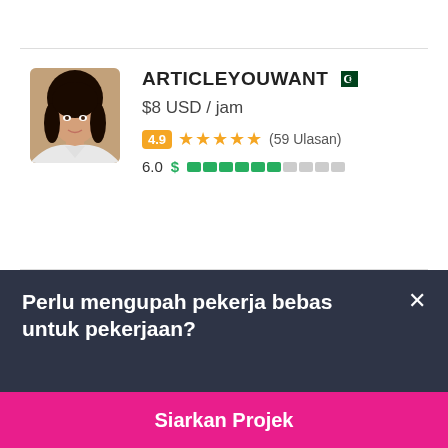[Figure (photo): Profile photo of a young woman with dark hair, avatar image for freelancer ARTICLEYOUWANT]
ARTICLEYOUWANT
$8 USD / jam
4.9 ★★★★★ (59 Ulasan)
6.0 $ ████████░░░
Perlu mengupah pekerja bebas untuk pekerjaan?
Siarkan Projek